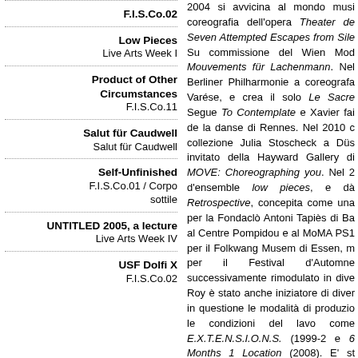Low Pieces
Live Arts Week I
Product of Other Circumstances
F.I.S.Co.11
Salut für Caudwell
Salut für Caudwell
Self-Unfinished
F.I.S.Co.01 / Corpo sottile
UNTITLED 2005, a lecture
Live Arts Week IV
USF Dolfi X
F.I.S.Co.02
2004 si avvicina al mondo musi coreografia dell'opera Theater de Seven Attempted Escapes from Sile Su commissione del Wien Mod Mouvements für Lachenmann. Nel Berliner Philharmonie a coreografa Varése, e crea il solo Le Sacre Segue To Contemplate e Xavier fai de la danse di Rennes. Nel 2010 c collezione Julia Stoscheck a Düs invitato della Hayward Gallery di MOVE: Choreographing you. Nel 2 d'ensemble low pieces, e dà Retrospective, concepita come una per la Fondaclò Antoni Tapiès di Ba al Centre Pompidou e al MoMA PS1 per il Folkwang Musem di Essen, m per il Festival d'Automne successivamente rimodulato in dive Roy è stato anche iniziatore di diver in questione le modalità di produzio le condizioni del lavo come E.X.T.E.N.S.I.O.N.S. (1999-2 e 6 Months 1 Location (2008). E' st Centre National Chorégraphique de